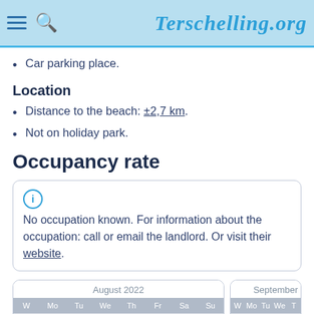Terschelling.org
Car parking place.
Location
Distance to the beach: ±2,7 km.
Not on holiday park.
Occupancy rate
No occupation known. For information about the occupation: call or email the landlord. Or visit their website.
| W | Mo | Tu | We | Th | Fr | Sa | Su |
| --- | --- | --- | --- | --- | --- | --- | --- |
| 31 | 1 | 2 | 3 | 4 | 5 | 6 | 7 |
| 32 | 8 | 9 | 10 | 11 | 12 | 13 | 14 |
| 33 | 15 | 16 | 17 | 18 | 19 | 20 | 21 |
| W | Mo | Tu | We | T |
| --- | --- | --- | --- | --- |
| 35 |  |  |  | 1 |
| 36 | 5 | 6 | 7 | 8 |
| 37 | 12 | 13 | 14 |  |